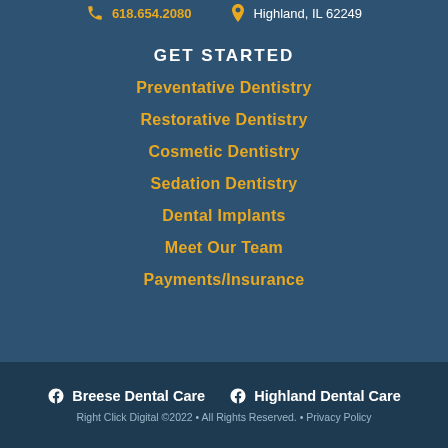618.654.2080  Highland, IL 62249
GET STARTED
Preventative Dentistry
Restorative Dentistry
Cosmetic Dentistry
Sedation Dentistry
Dental Implants
Meet Our Team
Payments/Insurance
Breese Dental Care  Highland Dental Care  Right Click Digital ©2022 • All Rights Reserved. • Privacy Policy